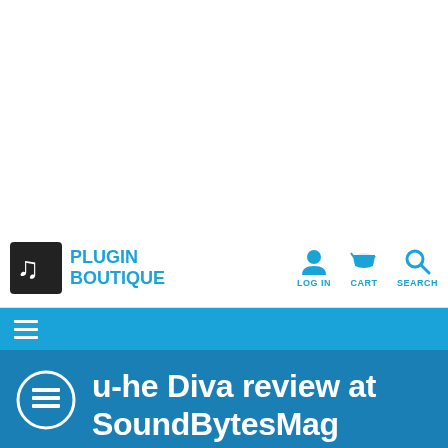[Figure (logo): Plugin Boutique logo with musical note icon and blue text]
[Figure (infographic): Navigation icons: Log In (person), Cart (basket), Search (magnifying glass) in blue]
[Figure (infographic): Hamburger menu icon (three horizontal white lines) on blue bar]
u-he Diva review at SoundBytesMag